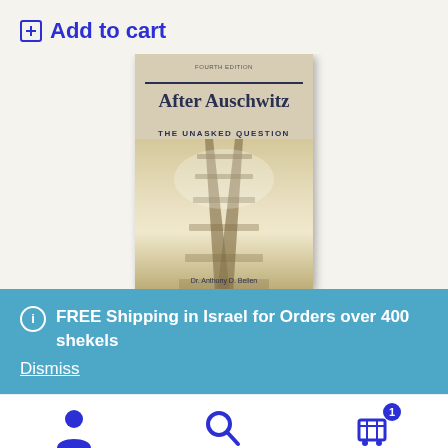Add to cart
[Figure (photo): Book cover of 'After Auschwitz: The Unasked Question' by Dr. Anthony D. Bellen, showing railroad tracks in a sepia/faded photographic style]
FREE Shipping in Israel for Orders over 400 shekels
Dismiss